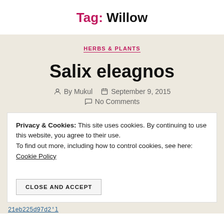Tag: Willow
HERBS & PLANTS
Salix eleagnos
By Mukul   September 9, 2015
No Comments
Privacy & Cookies: This site uses cookies. By continuing to use this website, you agree to their use. To find out more, including how to control cookies, see here: Cookie Policy
CLOSE AND ACCEPT
21eb225d97d2'l